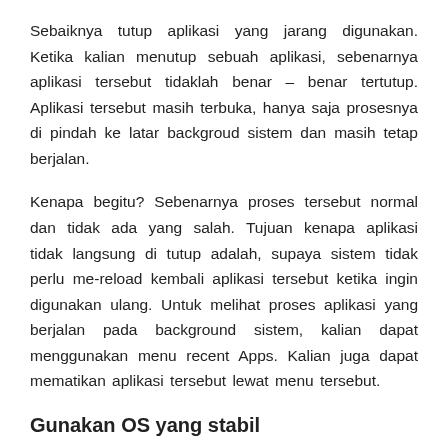Sebaiknya tutup aplikasi yang jarang digunakan. Ketika kalian menutup sebuah aplikasi, sebenarnya aplikasi tersebut tidaklah benar – benar tertutup. Aplikasi tersebut masih terbuka, hanya saja prosesnya di pindah ke latar backgroud sistem dan masih tetap berjalan.
Kenapa begitu? Sebenarnya proses tersebut normal dan tidak ada yang salah. Tujuan kenapa aplikasi tidak langsung di tutup adalah, supaya sistem tidak perlu me-reload kembali aplikasi tersebut ketika ingin digunakan ulang. Untuk melihat proses aplikasi yang berjalan pada background sistem, kalian dapat menggunakan menu recent Apps. Kalian juga dapat mematikan aplikasi tersebut lewat menu tersebut.
Gunakan OS yang stabil